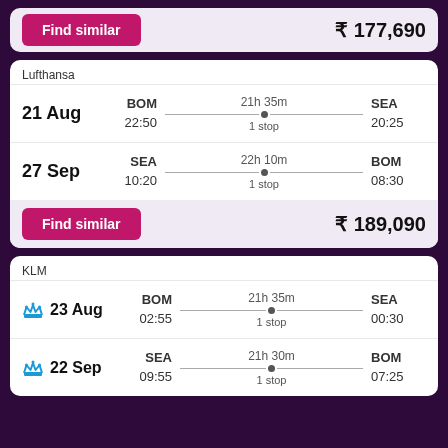Find similar   ₹ 177,690
Lufthansa
21 Aug  BOM 22:50  21h 35m 1 stop  SEA 20:25
27 Sep  SEA 10:20  22h 10m 1 stop  BOM 08:30
Find similar   ₹ 189,090
KLM
23 Aug  BOM 02:55  21h 35m 1 stop  SEA 00:30
22 Sep  SEA 09:55  21h 30m 1 stop  BOM 07:25